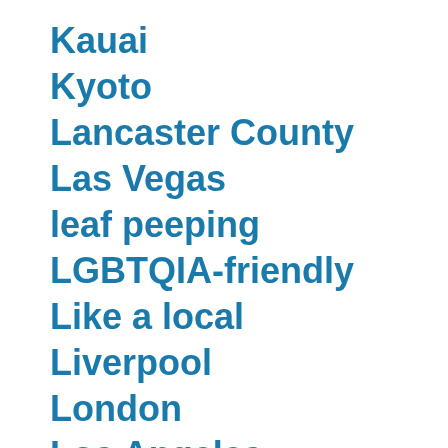Kauai
Kyoto
Lancaster County
Las Vegas
leaf peeping
LGBTQIA-friendly
Like a local
Liverpool
London
Los Angeles
Los Cabos